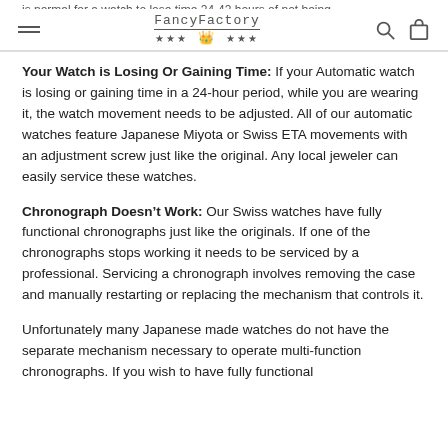FancyFactory *** crown ***
Your Watch is Losing Or Gaining Time: If your Automatic watch is losing or gaining time in a 24-hour period, while you are wearing it, the watch movement needs to be adjusted. All of our automatic watches feature Japanese Miyota or Swiss ETA movements with an adjustment screw just like the original. Any local jeweler can easily service these watches.
Chronograph Doesn’t Work: Our Swiss watches have fully functional chronographs just like the originals. If one of the chronographs stops working it needs to be serviced by a professional. Servicing a chronograph involves removing the case and manually restarting or replacing the mechanism that controls it.
Unfortunately many Japanese made watches do not have the separate mechanism necessary to operate multi-function chronographs. If you wish to have fully functional